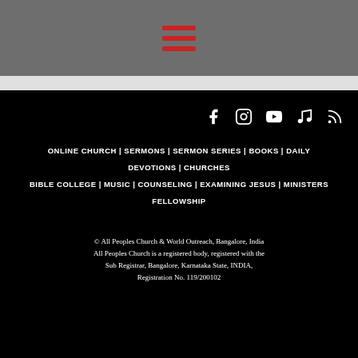[Figure (other): Gray header bar with red hamburger menu icon (three horizontal red lines)]
ONLINE CHURCH | SERMONS | SERMON SERIES | BOOKS | DAILY DEVOTIONS | CHURCHES BIBLE COLLEGE | MUSIC | COUNSELING | EXAMINING JESUS | MINISTERS FELLOWSHIP
© All Peoples Church & World Outreach, Bangalore, India All Peoples Church is a registered body, registered with the Sub Registrar, Bangalore, Karnataka State, INDIA, Registration No. 119/200102